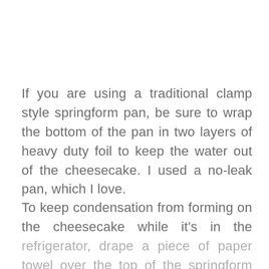If you are using a traditional clamp style springform pan, be sure to wrap the bottom of the pan in two layers of heavy duty foil to keep the water out of the cheesecake. I used a no-leak pan, which I love.
To keep condensation from forming on the cheesecake while it's in the refrigerator, drape a piece of paper towel over the top of the springform pan, then